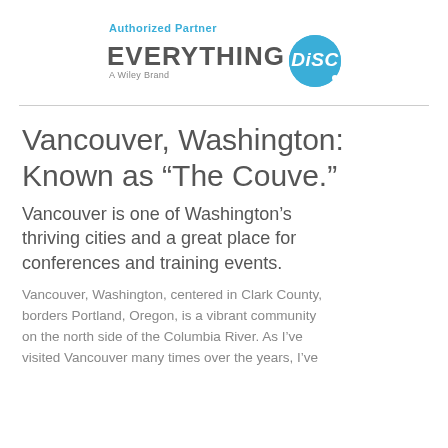[Figure (logo): Everything DiSC Authorized Partner logo — 'Authorized Partner' in blue above 'EVERYTHING' in gray bold, with a blue circle containing 'DiSC' in white italic, and 'A Wiley Brand' below]
Vancouver, Washington: Known as “The Couve.”
Vancouver is one of Washington’s thriving cities and a great place for conferences and training events.
Vancouver, Washington, centered in Clark County, borders Portland, Oregon, is a vibrant community on the north side of the Columbia River. As I’ve visited Vancouver many times over the years, I’ve